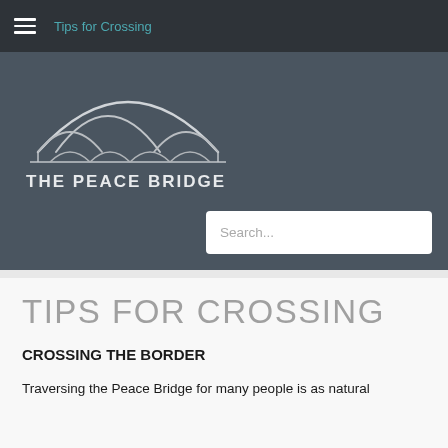Tips for Crossing
[Figure (logo): The Peace Bridge logo — stylized arch/bridge silhouette above the text 'THE PEACE BRIDGE' in white on dark slate background]
TIPS FOR CROSSING
CROSSING THE BORDER
Traversing the Peace Bridge for many people is as natural